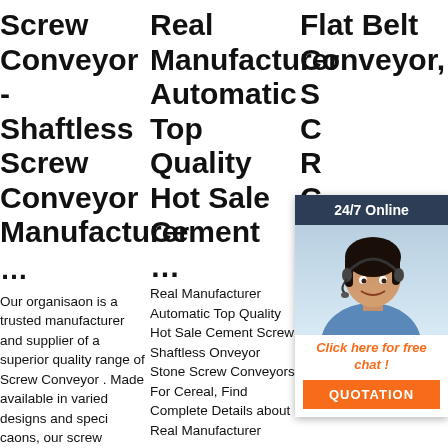Screw Conveyor - Shaftless Screw Conveyor Manufacturer ...
Our organisaon is a trusted manufacturer and supplier of a superior quality range of Screw Conveyor . Made available in varied designs and speci caons, our screw
Real Manufacturer Automatic Top Quality Hot Sale Cement ...
Real Manufacturer Automatic Top Quality Hot Sale Cement Screw Shaftless Onveyor Stone Screw Conveyors For Cereal, Find Complete Details about Real Manufacturer
Flat Belt Conveyor, Sc Co Ro Co ...
2019 14u Industries are largest Material Handling Equipment Company in India. Since 1981 is manufactured Flat Belt Conveyor, Screw
[Figure (infographic): Chat widget overlay showing a customer service representative with headset, dark blue header reading 24/7 Online, orange italic text Click here for free chat!, and orange QUOTATION button]